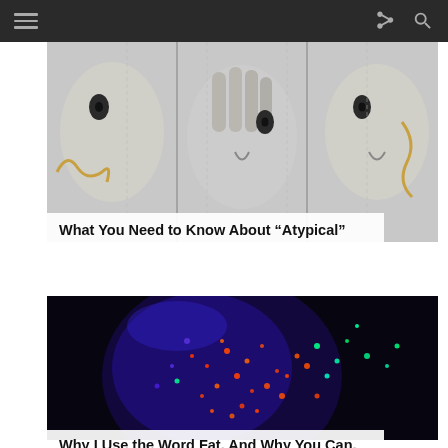Navigation bar with hamburger menu, share icon, and search icon
[Figure (photo): Street art mural showing multiple large stylized faces in black and white with some gold/brown accents, hands visible between faces]
What You Need to Know About “Atypical” Anorexia Nervosa And Why It Is Dangerous.
[Figure (photo): Close-up photo of a person's face covered in colorful UV/neon glitter against a dark background, with blue, orange, red and green particles visible]
Why I Use the Word Fat. And Why You Can, Too.